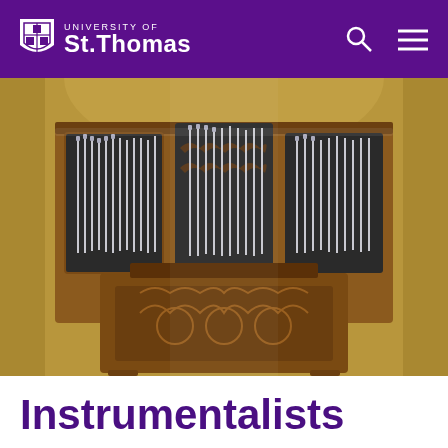University of St. Thomas
[Figure (photo): A large pipe organ with ornate wooden case, silver/grey metal pipes arranged in multiple sections behind decorative carved wooden fretwork, set against warm golden walls]
Instrumentalists